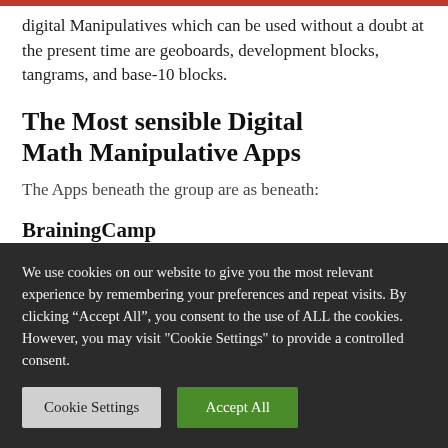digital Manipulatives which can be used without a doubt at the present time are geoboards, development blocks, tangrams, and base-10 blocks.
The Most sensible Digital Math Manipulative Apps
The Apps beneath the group are as beneath:
BrainingCamp
We use cookies on our website to give you the most relevant experience by remembering your preferences and repeat visits. By clicking “Accept All”, you consent to the use of ALL the cookies. However, you may visit "Cookie Settings" to provide a controlled consent.